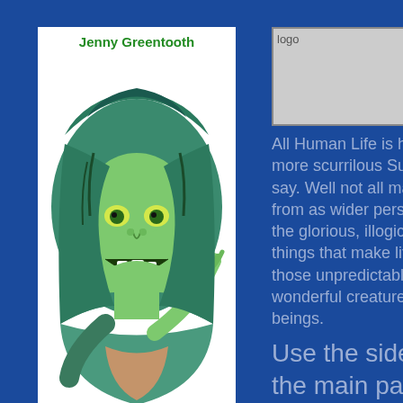[Figure (illustration): Illustration of Jenny Greentooth, a green-skinned, hooded figure with a menacing grin, drawn in colored pencil style. Text 'Jenny Greentooth' appears in green at the top of the image.]
[Figure (other): Logo placeholder box showing alt text 'logo']
All Human Life is here as more scurrilous Sunday t say. Well not all maybe b from as wider perspective the glorious, illogical, irra things that make life wort those unpredictable, fasc wonderful creatures we k beings.
Use the side scroll the main panel to n titles and informatio menus.
"Believe nothing. No matte it, or who said it, even if I h